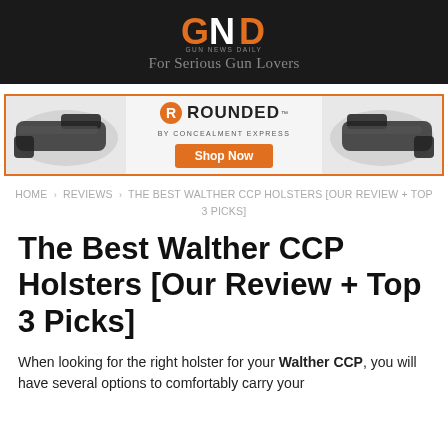GUN NEWS DAILY — For Serious Gun Lovers
[Figure (photo): Rounded by Concealment Express advertisement banner showing two black pistol holsters on left and right, orange Rounded logo in center with Shop Now button]
HOME › REVIEWS › THE BEST WALTHER CCP HOLSTERS [OUR REVIEW + TOP 3 PICKS]
The Best Walther CCP Holsters [Our Review + Top 3 Picks]
When looking for the right holster for your Walther CCP, you will have several options to comfortably carry your